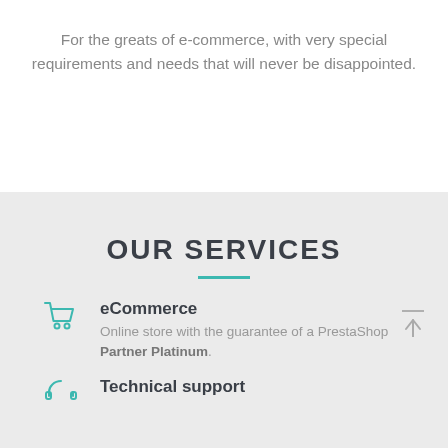For the greats of e-commerce, with very special requirements and needs that will never be disappointed.
OUR SERVICES
eCommerce
Online store with the guarantee of a PrestaShop Partner Platinum.
Technical support